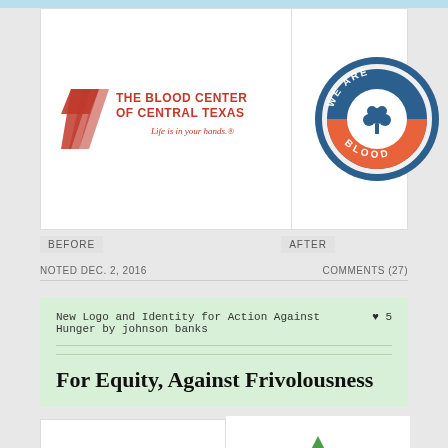[Figure (logo): The Blood Center of Central Texas logo — red chevron/ribbon mark on left, bold red text 'THE BLOOD CENTER OF CENTRAL TEXAS' with italic tagline 'Life is in your hands.']
[Figure (logo): We Are Blood circular logo — blue outer ring with orange/red lower half, white tree icon in center, text 'WE ARE BLOOD' around the ring]
BEFORE
AFTER
NOTED DEC. 2, 2016
COMMENTS (27)
New Logo and Identity for Action Against Hunger by johnson banks
♥ 5
For Equity, Against Frivolousness